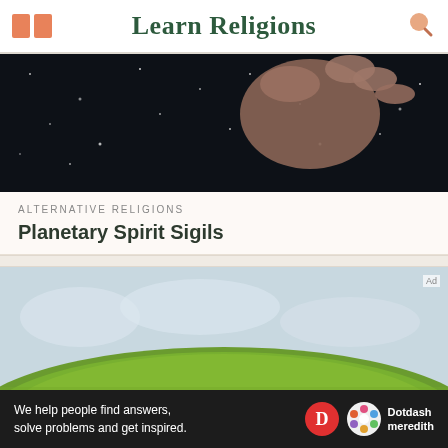Learn Religions
[Figure (photo): Dark starry sky with a human hand silhouetted against it]
ALTERNATIVE RELIGIONS
Planetary Spirit Sigils
[Figure (photo): Green grassy hill under a cloudy sky]
[Figure (infographic): Dotdash Meredith ad banner: We help people find answers, solve problems and get inspired.]